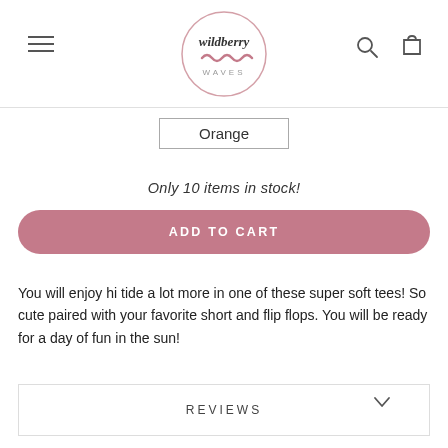wildberry WAVES — navigation header with logo, hamburger menu, search and cart icons
Orange
Only 10 items in stock!
ADD TO CART
You will enjoy hi tide a lot more in one of these super soft tees! So cute paired with your favorite short and flip flops. You will be ready for a day of fun in the sun!
REVIEWS